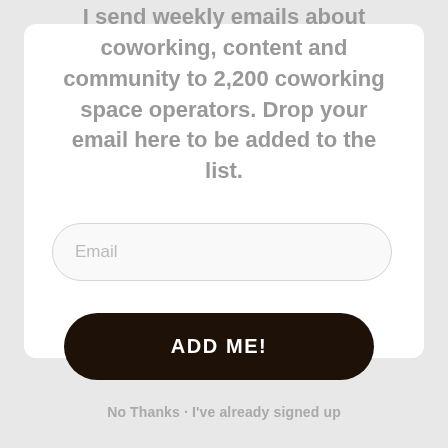I send weekly emails about coworking, content and community to 2,200 coworking space operators. Drop your email here to be added to the list.
[Figure (other): Email input field with placeholder text 'Email' and rounded border]
[Figure (other): Dark brown rounded button with text 'ADD ME!']
No Thanks · I've already signed up